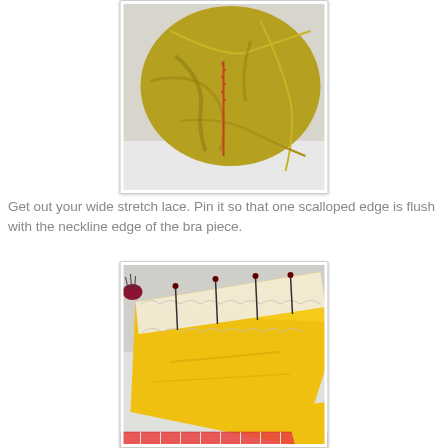[Figure (photo): Yellow fabric piece with a vertical seam/stitch visible, draped on a white surface, showing the neckline area of a bra piece being sewn.]
Get out your wide stretch lace. Pin it so that one scalloped edge is flush with the neckline edge of the bra piece.
[Figure (photo): Yellow fabric bra piece with white stretch lace pinned along the top neckline edge, with pins visible holding the lace in place. A measuring tape is visible at the bottom.]